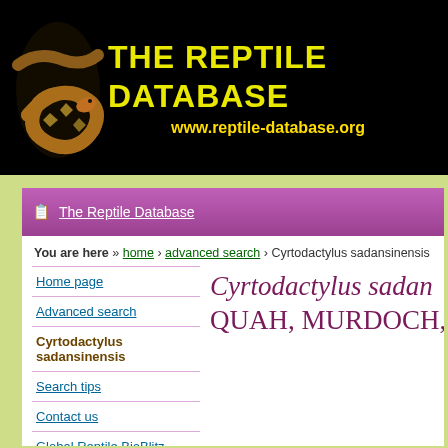THE REPTILE DATABASE
www.reptile-database.org
You are here » home › advanced search › Cyrtodactylus sadansinensis
Home page
Advanced search
Cyrtodactylus sadansinensis
Search tips
Contact us
Global Reptile BioBlitz
reptile-database.org
Cyrtodactylus sadansinensis QUAH, MURDOCH,